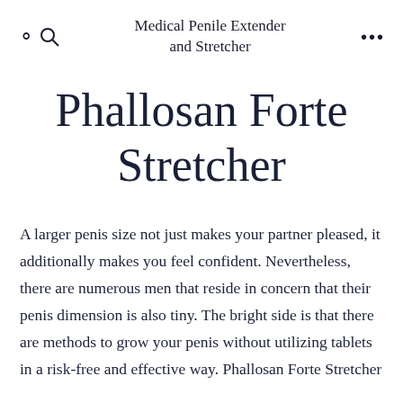Medical Penile Extender and Stretcher
Phallosan Forte Stretcher
A larger penis size not just makes your partner pleased, it additionally makes you feel confident. Nevertheless, there are numerous men that reside in concern that their penis dimension is also tiny. The bright side is that there are methods to grow your penis without utilizing tablets in a risk-free and effective way. Phallosan Forte Stretcher